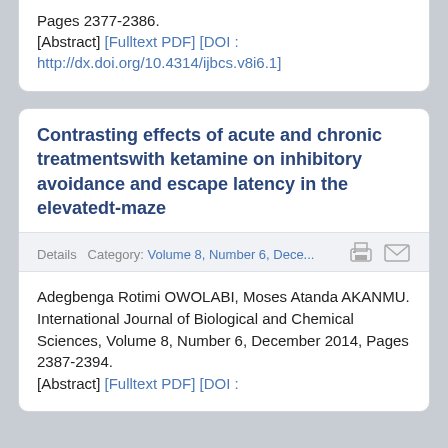Pages 2377-2386.
[Abstract] [Fulltext PDF] [DOI : http://dx.doi.org/10.4314/ijbcs.v8i6.1]
Contrasting effects of acute and chronic treatmentswith ketamine on inhibitory avoidance and escape latency in the elevatedt-maze
Details   Category: Volume 8, Number 6, Dece...
Adegbenga Rotimi OWOLABI, Moses Atanda AKANMU.
International Journal of Biological and Chemical Sciences, Volume 8, Number 6, December 2014, Pages 2387-2394.
[Abstract] [Fulltext PDF] [DOI :